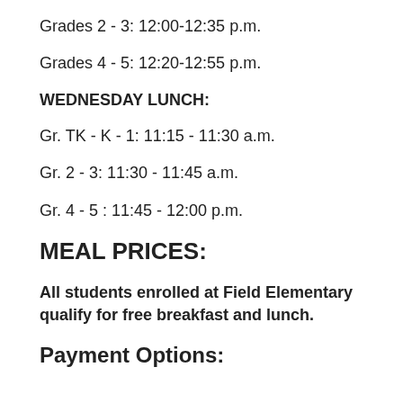Grades 2 - 3: 12:00-12:35 p.m.
Grades 4 - 5: 12:20-12:55 p.m.
WEDNESDAY LUNCH:
Gr. TK - K - 1: 11:15 - 11:30 a.m.
Gr. 2 - 3: 11:30 - 11:45 a.m.
Gr. 4 - 5 : 11:45 - 12:00 p.m.
MEAL PRICES:
All students enrolled at Field Elementary qualify for free breakfast and lunch.
Payment Options: